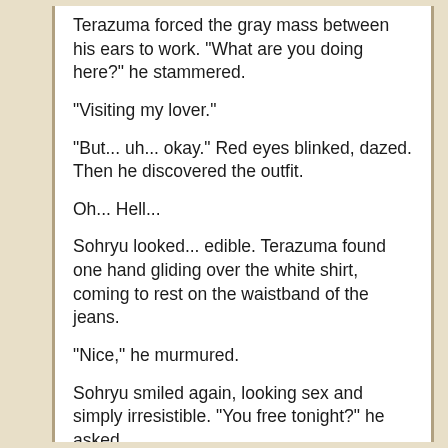Terazuma forced the gray mass between his ears to work. "What are you doing here?" he stammered.
"Visiting my lover."
"But... uh... okay." Red eyes blinked, dazed. Then he discovered the outfit.
Oh... Hell...
Sohryu looked... edible. Terazuma found one hand gliding over the white shirt, coming to rest on the waistband of the jeans.
"Nice," he murmured.
Sohryu smiled again, looking sex and simply irresistible. "You free tonight?" he asked.
"You asking me out for a date?"
"That depends..."